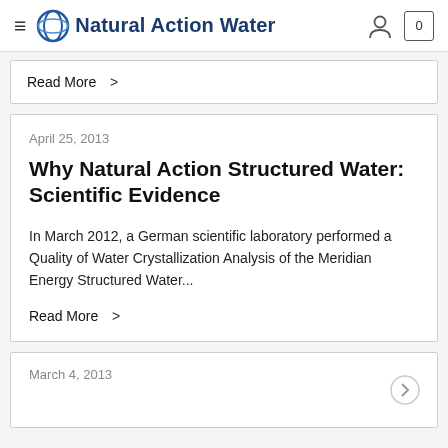Natural Action Water
Read More >
April 25, 2013
Why Natural Action Structured Water: Scientific Evidence
In March 2012, a German scientific laboratory performed a Quality of Water Crystallization Analysis of the Meridian Energy Structured Water...
Read More >
March 4, 2013